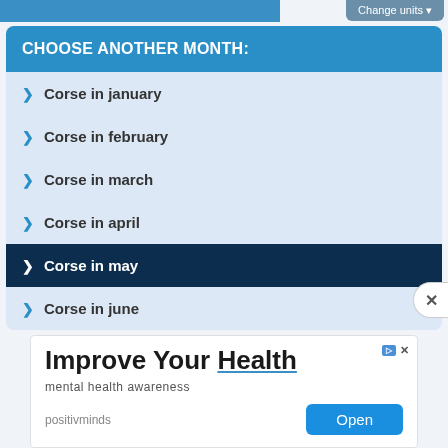Change units
CHOOSE ANOTHER MONTH:
Corse in january
Corse in february
Corse in march
Corse in april
Corse in may
Corse in june
[Figure (screenshot): Advertisement: Improve Your Health - mental health awareness, positivminds, Open button]
Improve Your Health
mental health awareness
positivminds